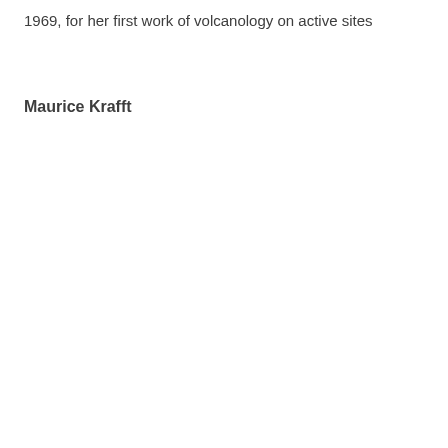1969, for her first work of volcanology on active sites
Maurice Krafft